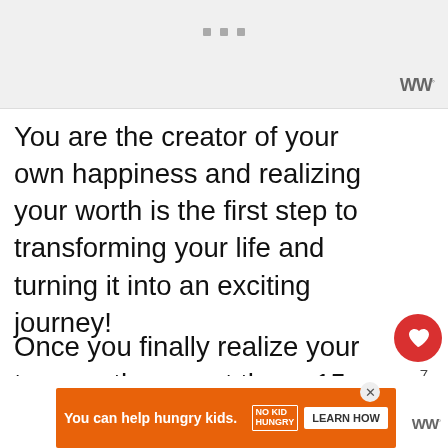[Figure (other): Top advertisement banner placeholder with three grey dots and WW logo]
You are the creator of your own happiness and realizing your worth is the first step to transforming your life and turning it into an exciting journey!
Once you finally realize your true worth, expect these 15 amazing things to happen:
[Figure (other): Heart like button (red circle with white heart) showing count of 7, and a share button below it]
[Figure (other): What's Next promo: thumbnail image with text 'This Is Why It's So...']
[Figure (other): Bottom advertisement banner: orange bar with 'You can help hungry kids.' No Kid Hungry logo and LEARN HOW button]